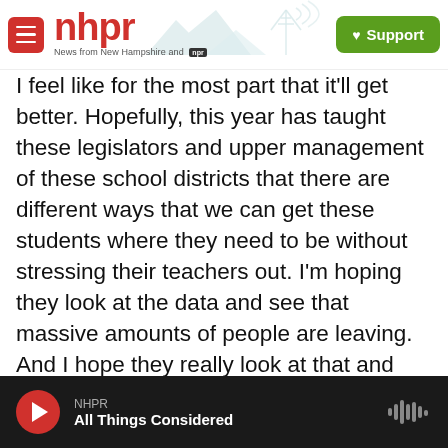nhpr — News from New Hampshire and NPR | Support
I feel like for the most part that it'll get better. Hopefully, this year has taught these legislators and upper management of these school districts that there are different ways that we can get these students where they need to be without stressing their teachers out. I'm hoping they look at the data and see that massive amounts of people are leaving. And I hope they really look at that and really ask these teachers and really pay attention to their answers about why they're leaving. You know, what can we do to fix this? - because if they don't, I mean, they're just going to be hemorrhaging really good teachers for the
NHPR — All Things Considered